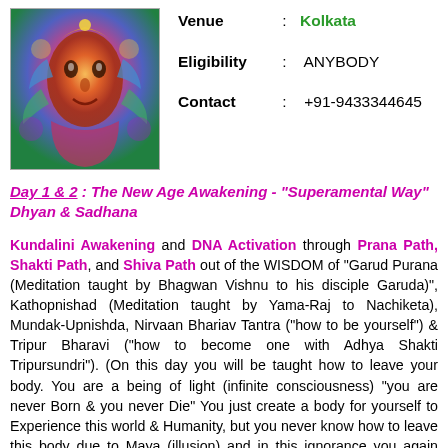[Figure (photo): Colorful artistic/spiritual image with vibrant colors - orange, pink, blue, green tones forming an abstract face or deity figure]
Venue : Kolkata
Eligibility : ANYBODY
Contact : +91-9433344645
Day 1 & 2 : The New Age Awakening - "Superamental Way" Dhyan & Sadhana
Kundalini Awakening and DNA Activation through Prana Path, Shakti Path, and Shiva Path out of the WISDOM of "Garud Purana (Meditation taught by Bhagwan Vishnu to his disciple Garuda)", Kathopnishad (Meditation taught by Yama-Raj to Nachiketa), Mundak-Upnishda, Nirvaan Bhariav Tantra ("how to be yourself") & Tripur Bharavi ("how to become one with Adhya Shakti Tripursundri"). (On this day you will be taught how to leave your body. You are a being of light (infinite consciousness) "you are never Born & you never Die" You just create a body for yourself to Experience this world & Humanity, but you never know how to leave this body due to Maya (illusion) and in this ignorance you again create a new body for you as per your consciousness at the time of leaving this body. It can also be called "Realization of Rebirth" – a